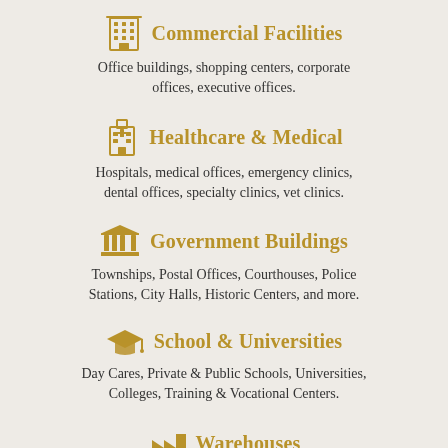Commercial Facilities
Office buildings, shopping centers, corporate offices, executive offices.
Healthcare & Medical
Hospitals, medical offices, emergency clinics, dental offices, specialty clinics, vet clinics.
Government Buildings
Townships, Postal Offices, Courthouses, Police Stations, City Halls, Historic Centers, and more.
School & Universities
Day Cares, Private & Public Schools, Universities, Colleges, Training & Vocational Centers.
Warehouses